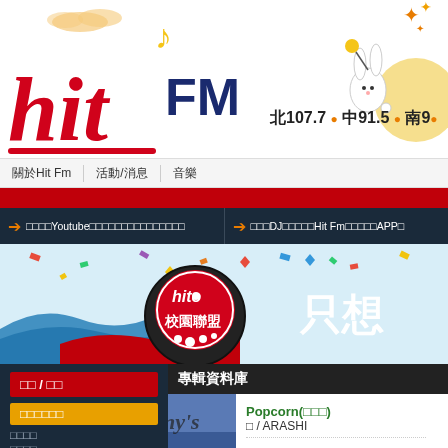[Figure (logo): Hit FM radio station logo with musical notes and cloud decorations in red/yellow/navy colors]
[Figure (illustration): Decorative Mid-Autumn Festival illustration with rabbit, fireworks, moon on right side of header]
北107.7 ● 中91.5 ● 南9
關於Hit Fm | 活動/消息 | 音樂
➔ ooooYoutubeoooooooooooo ➔ oooDJoooooHit FmoooooAPPo
[Figure (illustration): Hito 校園聯盟 promotional banner with confetti and blue wave design, text 只想 visible on right]
oo / oo
oooooo
oooo
oooo
專輯資料庫
[Figure (photo): Album cover thumbnail - blue/dark colored album art with partial text visible]
Popcorn(□□□)
□ / ARASHI